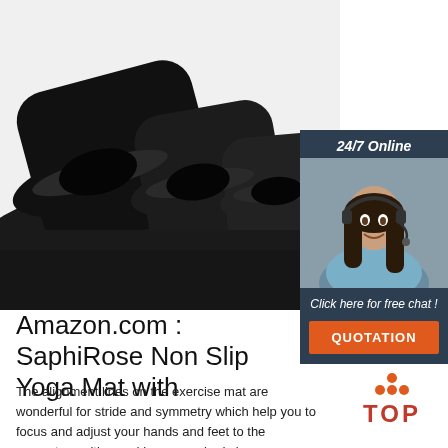[Figure (photo): Rolled black yoga mat close-up showing textured surface and curved rolled edges against white background]
[Figure (photo): 24/7 Online chat widget with smiling female customer service representative wearing headset, dark blue background, with 'Click here for free chat!' text and orange QUOTATION button]
Amazon.com : SaphiRose Non Slip Yoga Mat with
The alignment lines on the exercise mat are wonderful for stride and symmetry which help you to focus and adjust your hands and feet to the accurate position and keep your body in proper
[Figure (logo): TOP logo with orange dots arranged in triangle pattern above bold red TOP text]